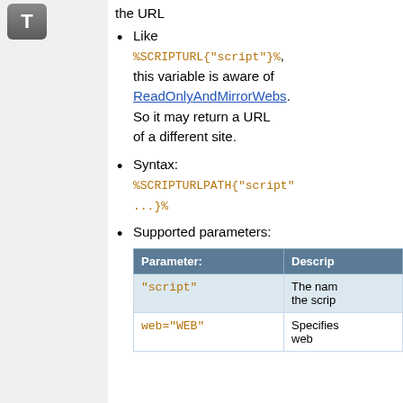the URL
Like %SCRIPTURL{"script"}%, this variable is aware of ReadOnlyAndMirrorWebs. So it may return a URL of a different site.
Syntax: %SCRIPTURLPATH{"script" ...}%
Supported parameters:
| Parameter: | Descrip... |
| --- | --- |
| "script" | The nam... the scrip... |
| web="WEB" | Specifies... web |